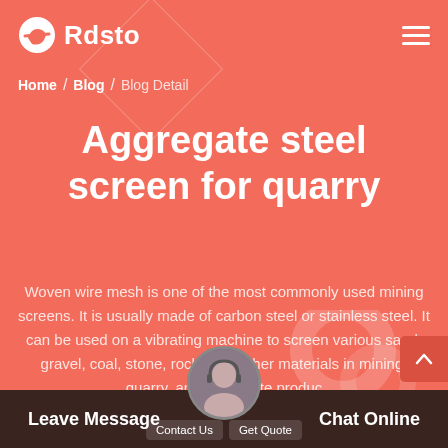Rdsto
Home / Blog / Blog Detail
Aggregate steel screen for quarry
Woven wire mesh is one of the most commonly used mining screens. It is usually made of carbon steel or stainless steel. It can be used on a vibrating machine to screen various sand, gravel, coal, stone, rocks and other materials in mining, quarry, and aggregate produc
Leave Message  Chat Online